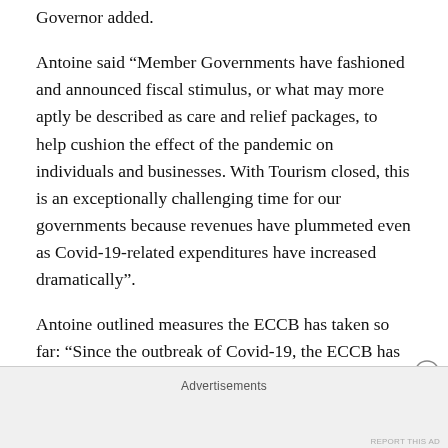Governor added.
Antoine said “Member Governments have fashioned and announced fiscal stimulus, or what may more aptly be described as care and relief packages, to help cushion the effect of the pandemic on individuals and businesses. With Tourism closed, this is an exceptionally challenging time for our governments because revenues have plummeted even as Covid-19-related expenditures have increased dramatically”.
Antoine outlined measures the ECCB has taken so far: “Since the outbreak of Covid-19, the ECCB has been
Advertisements